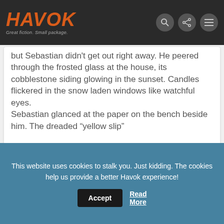HAVOK — Great fiction. Small package.
but Sebastian didn't get out right away. He peered through the frosted glass at the house, its cobblestone siding glowing in the sunset. Candles flickered in the snow laden windows like watchful eyes.
Sebastian glanced at the paper on the bench beside him. The dreaded “yellow slip”
READ IT NOW
[Figure (illustration): Dark background with glowing purple/pink stylized text beginning with 'FANTASY' or similar word in neon style lettering]
This website uses cookies to stalk you. Just kidding. The cookies help us provide a better Havok experience!
Accept
Read More